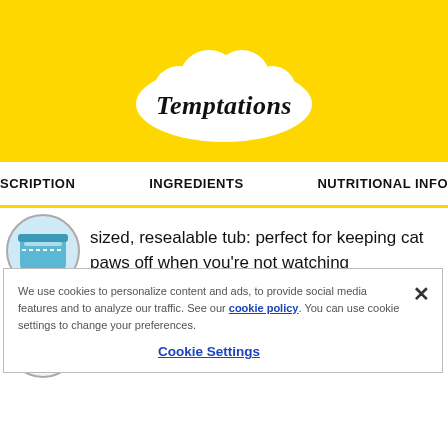[Figure (logo): Temptations cat treats logo: white cloud-shaped badge with 'Temptations' handwritten text on yellow background]
SCRIPTION   INGREDIENTS   NUTRITIONAL INFO
sized, resealable tub: perfect for keeping cat paws off when you're not watching
America's #1 Cat Treat Brand*… just shake the pack and they'll come running
We use cookies to personalize content and ads, to provide social media features and to analyze our traffic. See our cookie policy. You can use cookie settings to change your preferences.
Cookie Settings